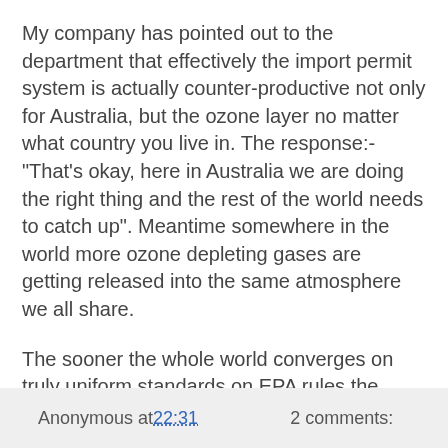My company has pointed out to the department that effectively the import permit system is actually counter-productive not only for Australia, but the ozone layer no matter what country you live in. The response:- "That's okay, here in Australia we are doing the right thing and the rest of the world needs to catch up". Meantime somewhere in the world more ozone depleting gases are getting released into the same atmosphere we all share.
The sooner the whole world converges on truly uniform standards on EPA rules the better off global trade and the environment we live in will be.
All for now,
Brad Skelton
The Shipping Bloke
Anonymous at 22:31   2 comments: